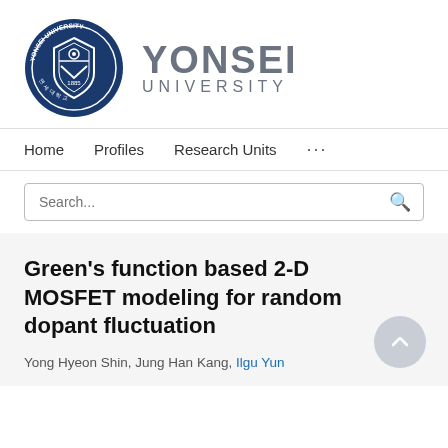[Figure (logo): Yonsei University logo: circular blue seal with shield emblem and text 'YONSEI UNIVERSITY' in large gray letters beside it]
Home   Profiles   Research Units   ...
Search...
Green's function based 2-D MOSFET modeling for random dopant fluctuation
Yong Hyeon Shin, Jung Han Kang, Ilgu Yun